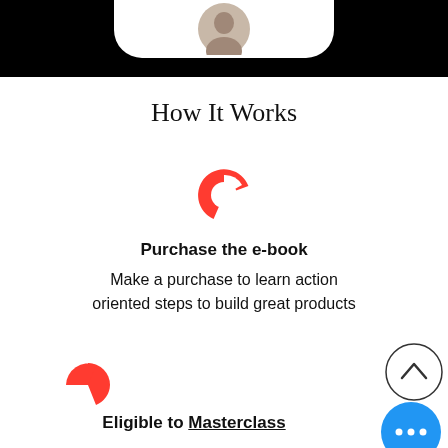[Figure (photo): Top black bar with white rounded card showing a person's profile photo (head/shoulders, person wearing dark hoodie)]
How It Works
[Figure (logo): Red Tinder-like flame/pac-man icon for step 1]
Purchase the e-book
Make a purchase to learn action oriented steps to build great products
[Figure (logo): Red partial circle / pie icon for step 2]
[Figure (other): Up chevron arrow in a circle button (scroll up UI element)]
[Figure (other): Blue circle with three dots (more options button)]
Eligible to Masterclass